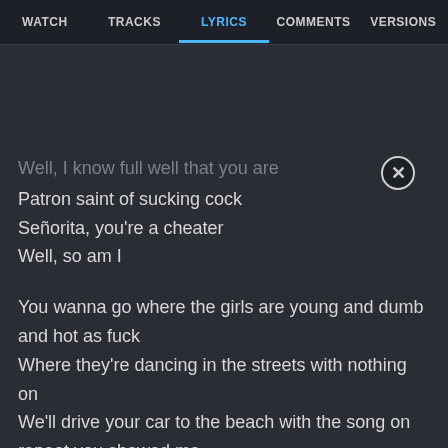WATCH  TRACKS  LYRICS  COMMENTS  VERSIONS
Well, I know full well that you are
Patron saint of sucking cock
Señorita, you're a cheater
Well, so am I

You wanna go where the girls are young and dumb and hot as fuck
Where they're dancing in the streets with nothing on
We'll drive your car to the beach with the song on repeat you showed me
We'll drive your car to the beach with this song on repeat
Oh, baby

My heart is racing watching you kiss him